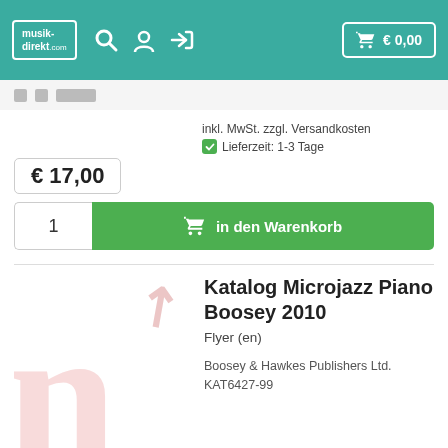musik-direkt.com  € 0,00
€ 17,00
inkl. MwSt. zzgl. Versandkosten
Lieferzeit: 1-3 Tage
1  in den Warenkorb
Katalog Microjazz Piano Boosey 2010
Flyer (en)
Boosey & Hawkes Publishers Ltd.
KAT6427-99